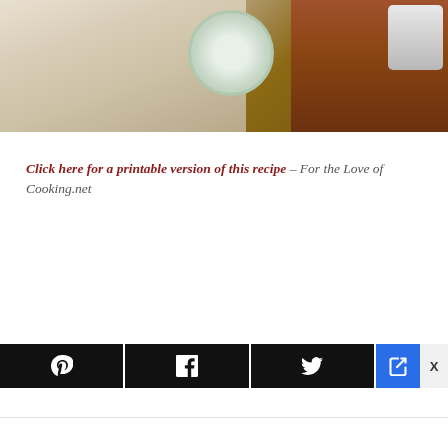[Figure (photo): Food photo showing pita bread pieces on a white platter, a glass jar with creamy dip/sauce on a wooden table, and stacked brown plates in the background]
Click here for a printable version of this recipe – For the Love of Cooking.net
[Figure (other): Social sharing bar with Pinterest (P), Facebook (f), and Twitter bird icons on black buttons, plus a blue share icon button and an X close button]